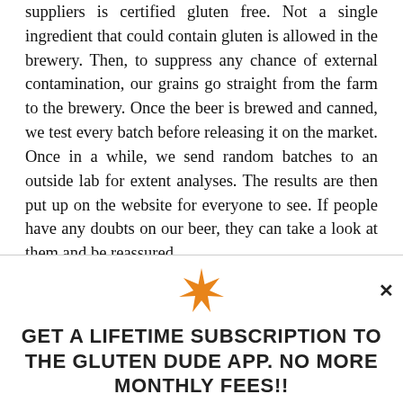suppliers is certified gluten free. Not a single ingredient that could contain gluten is allowed in the brewery. Then, to suppress any chance of external contamination, our grains go straight from the farm to the brewery. Once the beer is brewed and canned, we test every batch before releasing it on the market. Once in a while, we send random batches to an outside lab for extent analyses. The results are then put up on the website for everyone to see. If people have any doubts on our beer, they can take a look at them and be reassured.
[Figure (illustration): Orange decorative star/asterisk icon]
GET A LIFETIME SUBSCRIPTION TO THE GLUTEN DUDE APP. NO MORE MONTHLY FEES!!
DETAILS